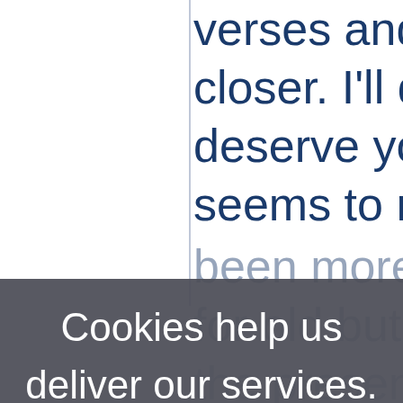verses and study them a closer. I'll do likewise, bu deserve your acrimony a seems to me your ego ne been more than once an use of cookies. Learn more
[Figure (screenshot): Cookie consent overlay dialog with dark semi-transparent background showing text: 'Cookies help us deliver our services. By using our services, you agree to our use of cookies. Learn more' with a blue 'Learn more' hyperlink and an 'OK' button in blue.]